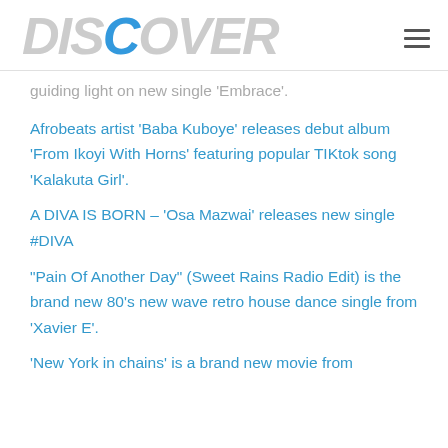DISCOVER
guiding light on new single ‘Embrace’.
Afrobeats artist ‘Baba Kuboye’ releases debut album ‘From Ikoyi With Horns’ featuring popular TIKtok song ‘Kalakuta Girl’.
A DIVA IS BORN – ‘Osa Mazwai’ releases new single #DIVA
“Pain Of Another Day” (Sweet Rains Radio Edit) is the brand new 80’s new wave retro house dance single from ‘Xavier E’.
‘New York in chains’ is a brand new movie from